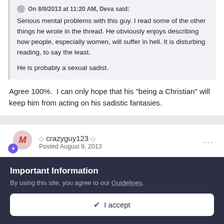On 8/9/2013 at 11:20 AM, Deva said:
Serious mental problems with this guy. I read some of the other things he wrote in the thread. He obviously enjoys describing how people, especially women, will suffer in hell. It is disturbing reading, to say the least.

He is probably a sexual sadist.
Agree 100%.  I can only hope that his "being a Christian" will keep him from acting on his sadistic fantasies.
◇ crazyguy123 ◇
Posted August 9, 2013
Important Information
By using this site, you agree to our Guidelines.
✔  I accept